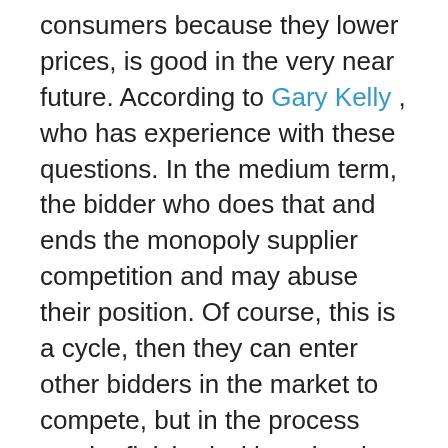consumers because they lower prices, is good in the very near future. According to Gary Kelly , who has experience with these questions. In the medium term, the bidder who does that and ends the monopoly supplier competition and may abuse their position. Of course, this is a cycle, then they can enter other bidders in the market to compete, but in the process can be finished with national industry and no country can handle that, you do not have instruments that can balance things out. It is known that since the establishment in Venezuela, the Committee on Antidumping and Subsidies (CASS) have been initiated and completed 18 investigations into cases. Venezuela's exports have undergone a similar number of